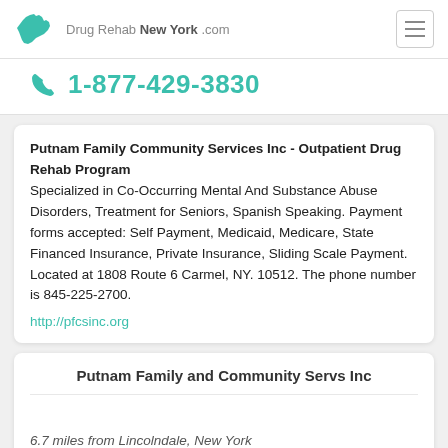Drug Rehab New York .com
1-877-429-3830
Putnam Family Community Services Inc - Outpatient Drug Rehab Program
Specialized in Co-Occurring Mental And Substance Abuse Disorders, Treatment for Seniors, Spanish Speaking. Payment forms accepted: Self Payment, Medicaid, Medicare, State Financed Insurance, Private Insurance, Sliding Scale Payment. Located at 1808 Route 6 Carmel, NY. 10512. The phone number is 845-225-2700.
http://pfcsinc.org
Putnam Family and Community Servs Inc
6.7 miles from Lincolndale, New York
Putnam Family and Community Servs Inc is located at 1808